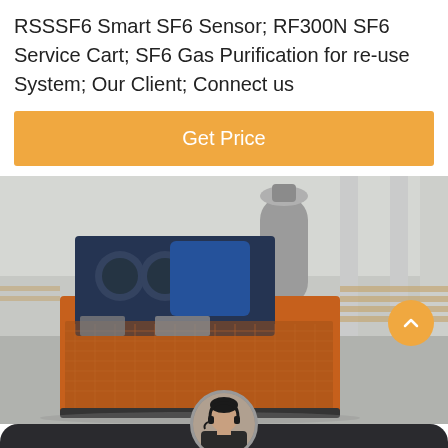RSSSF6 Smart SF6 Sensor; RF300N SF6 Service Cart; SF6 Gas Purification for re-use System; Our Client; Connect us
Get Price
[Figure (photo): Industrial SF6 gas purification machine/service cart with orange metal frame, compressor unit, and cylindrical tank in a factory setting]
Leave Message
Chat Online